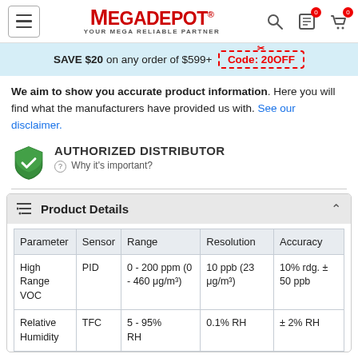MEGADEPOT - YOUR MEGA RELIABLE PARTNER
SAVE $20 on any order of $599+ Code: 20OFF
We aim to show you accurate product information. Here you will find what the manufacturers have provided us with. See our disclaimer.
[Figure (logo): Authorized Distributor shield icon with checkmark]
AUTHORIZED DISTRIBUTOR
⑦ Why it's important?
Product Details
| Parameter | Sensor | Range | Resolution | Accuracy |
| --- | --- | --- | --- | --- |
| High Range VOC | PID | 0 - 200 ppm (0 - 460 μg/m³) | 10 ppb (23 μg/m³) | 10% rdg. ± 50 ppb |
| Relative Humidity | TFC | 5 - 95% RH | 0.1% RH | ± 2% RH |